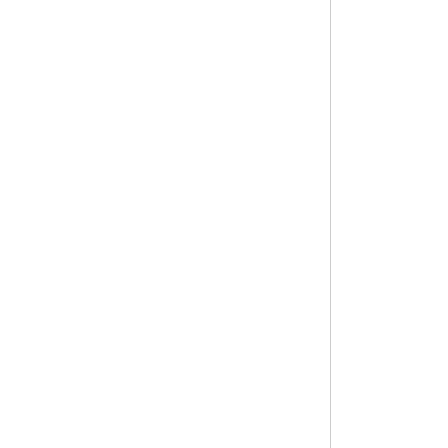For mineral proceesing industries, the models from BASF reference ,magnafloc156,mag

Chinafloc series of a
[Figure (photo): Industrial mineral processing equipment showing pipes and structural metalwork in a processing facility]